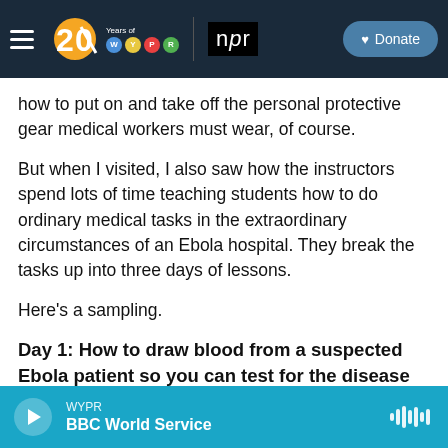[Figure (screenshot): WYPR 20 Years and NPR logo navigation bar with Donate button on dark navy background]
how to put on and take off the personal protective gear medical workers must wear, of course.
But when I visited, I also saw how the instructors spend lots of time teaching students how to do ordinary medical tasks in the extraordinary circumstances of an Ebola hospital. They break the tasks up into three days of lessons.
Here's a sampling.
Day 1: How to draw blood from a suspected Ebola patient so you can test for the disease
[Figure (screenshot): Audio player bar with WYPR label, BBC World Service show name, play button and waveform icon on cyan/teal background]